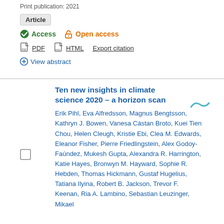Print publication: 2021
Article
Access  Open access
PDF  HTML  Export citation
View abstract
Ten new insights in climate science 2020 – a horizon scan
Erik Pihl, Eva Alfredsson, Magnus Bengtsson, Kathryn J. Bowen, Vanesa Cástan Broto, Kuei Tien Chou, Helen Cleugh, Kristie Ebi, Clea M. Edwards, Eleanor Fisher, Pierre Friedlingstein, Alex Godoy-Faúndez, Mukesh Gupta, Alexandra R. Harrington, Katie Hayes, Bronwyn M. Hayward, Sophie R. Hebden, Thomas Hickmann, Gustaf Hugelius, Tatiana Ilyina, Robert B. Jackson, Trevor F. Keenan, Ria A. Lambino, Sebastian Leuzinger, Mikael